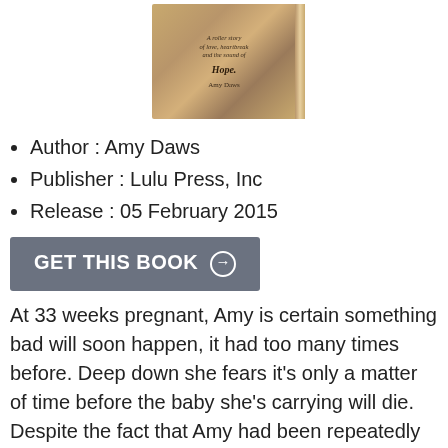[Figure (photo): Book cover for a book by Amy Daws, with warm brown/golden tones, italic script text reading 'A roller story of love, heartbreak and the sound of Hope.' with 'Amy Daws' as author name at bottom]
Author : Amy Daws
Publisher : Lulu Press, Inc
Release : 05 February 2015
GET THIS BOOK →
At 33 weeks pregnant, Amy is certain something bad will soon happen, it had too many times before. Deep down she fears it's only a matter of time before the baby she's carrying will die. Despite the fact that Amy had been repeatedly slapped in the face with multiple miscarriages, she still can't seem to quiet that tiny voice in the back of her head that's screaming at her to not give up hope.